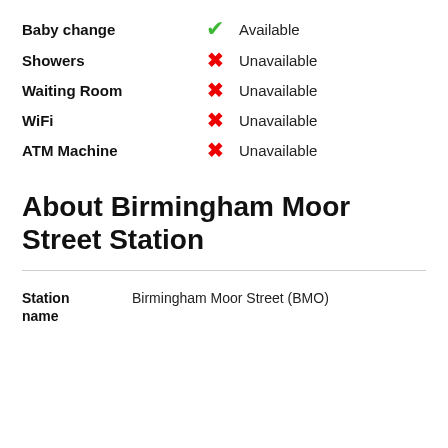Baby change — Available
Showers — Unavailable
Waiting Room — Unavailable
WiFi — Unavailable
ATM Machine — Unavailable
About Birmingham Moor Street Station
| Station name |  |
| --- | --- |
| Station name | Birmingham Moor Street (BMO) |